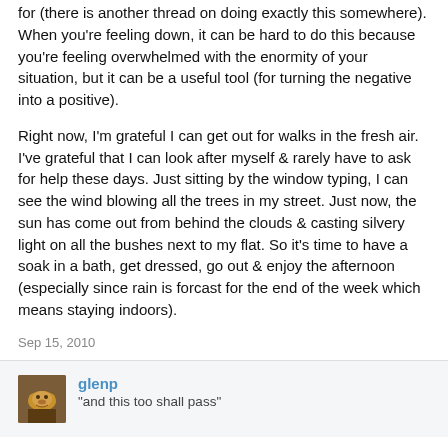for (there is another thread on doing exactly this somewhere). When you're feeling down, it can be hard to do this because you're feeling overwhelmed with the enormity of your situation, but it can be a useful tool (for turning the negative into a positive).
Right now, I'm grateful I can get out for walks in the fresh air. I've grateful that I can look after myself & rarely have to ask for help these days. Just sitting by the window typing, I can see the wind blowing all the trees in my street. Just now, the sun has come out from behind the clouds & casting silvery light on all the bushes next to my flat. So it's time to have a soak in a bath, get dressed, go out & enjoy the afternoon (especially since rain is forcast for the end of the week which means staying indoors).
Sep 15, 2010
glenp
"and this too shall pass"